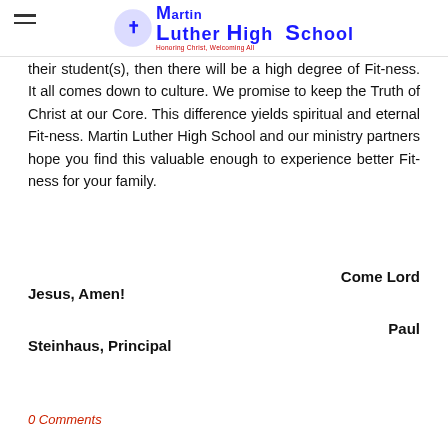Martin Luther High School — Honoring Christ, Welcoming All
their student(s), then there will be a high degree of Fit-ness. It all comes down to culture. We promise to keep the Truth of Christ at our Core. This difference yields spiritual and eternal Fit-ness. Martin Luther High School and our ministry partners hope you find this valuable enough to experience better Fit-ness for your family.
Come Lord Jesus, Amen!
Paul Steinhaus, Principal
[Figure (other): Tweet button (Twitter/X social share button)]
0 Comments